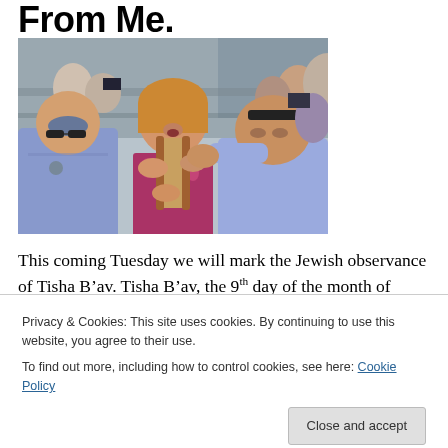From Me.
[Figure (photo): Photograph of a woman holding a Torah scroll being grabbed by police officers in a crowd, appearing to be at a protest or religious confrontation]
This coming Tuesday we will mark the Jewish observance of Tisha B'av. Tisha B'av, the 9th day of the month of
Privacy & Cookies: This site uses cookies. By continuing to use this website, you agree to their use. To find out more, including how to control cookies, see here: Cookie Policy
BCE and 70 CE, respectively.  However, our tradition tells